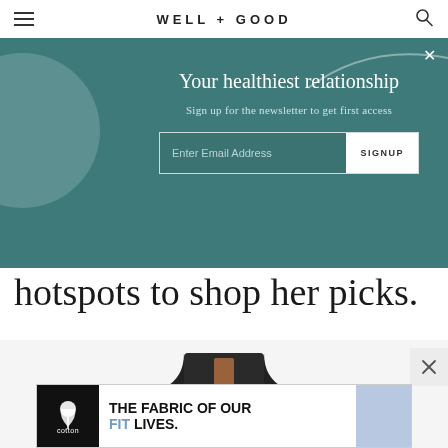WELL + GOOD
[Figure (screenshot): Newsletter signup modal overlay on teal/green background with decorative circle and curved line. Title: 'Your healthiest relationship'. Subtitle: 'Sign up for the newsletter to get first access'. Email input field with SIGNUP button. Close X button top right.]
hotspots to shop her picks.
[Figure (photo): Dark quilted athletic vest/jacket product photo on white background]
[Figure (infographic): Advertisement banner: Cotton logo (white cotton plant on black background) with text 'THE FABRIC OF OUR FIT LIVES.' where FIT is in blue and the rest in black. Light blue t-shirt visible on right side.]